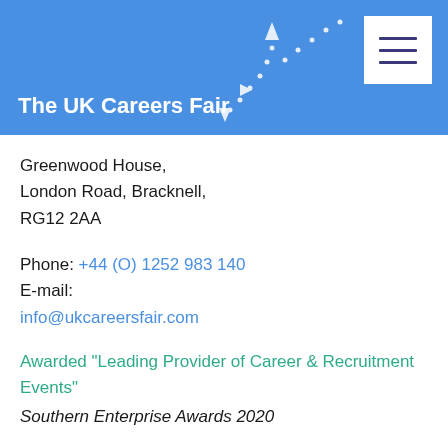The UK Careers Fair
Greenwood House,
London Road, Bracknell,
RG12 2AA
Phone: +44 (O) 1252 983 140
E-mail:
info@ukcareersfair.com
Awarded "Leading Provider of Career & Recruitment Events"
Southern Enterprise Awards 2020